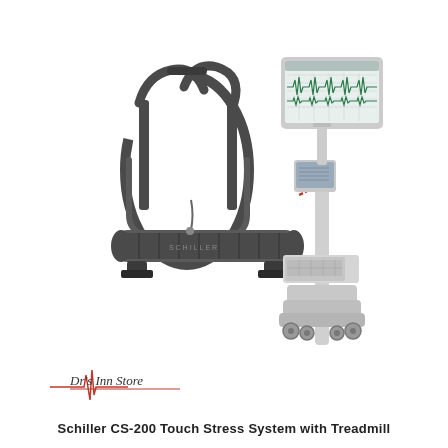[Figure (photo): Schiller CS-200 Touch Stress System with Treadmill. A medical-grade treadmill (dark grey/black) on the left, connected by a cable to a white medical workstation cart on the right. The cart holds a small monitor/device and a large flat-panel display showing ECG waveforms, plus a keyboard tray and wheeled base.]
[Figure (logo): Dr's Inn Store logo — stylized ECG heartbeat line with text 'Dr's Inn Store' in a serif/handwriting hybrid font, red accent lines]
Schiller CS-200 Touch Stress System with Treadmill